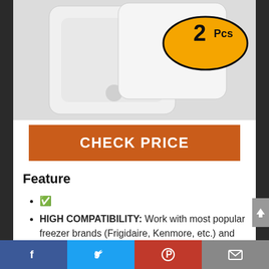[Figure (photo): Product photo showing two white freezer shelf/bin pieces partially visible at top, with a yellow-and-black oval badge reading '2 Pcs' in the upper right corner]
CHECK PRICE
Feature
&#9989
HIGH COMPATIBILITY: Work with most popular freezer brands (Frigidaire, Kenmore, etc.) and replaces AP4301346, 216702900, etc.